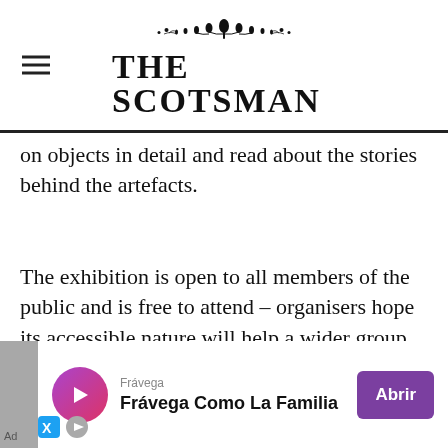THE SCOTSMAN
on objects in detail and read about the stories behind the artefacts.
The exhibition is open to all members of the public and is free to attend – organisers hope its accessible nature will help a wider group of people access the artefacts.
Head of special collections Daryl Green said online access to exhibitions has played a vital role in engagement during the Covid-19 pandemic.
[Figure (other): Advertisement banner: Frávega Como La Familia with purple Abrir button]